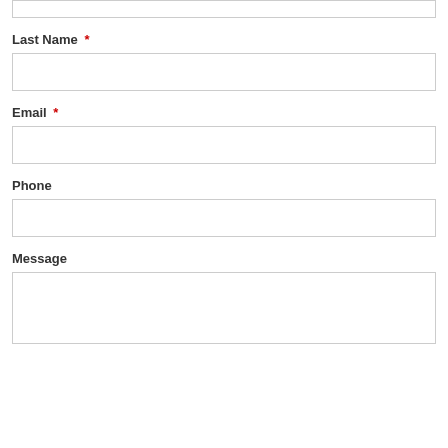[Figure (other): Top portion of a web form input box (cropped at top of page)]
Last Name *
[Figure (other): Empty text input field for Last Name]
Email *
[Figure (other): Empty text input field for Email]
Phone
[Figure (other): Empty text input field for Phone]
Message
[Figure (other): Empty textarea input field for Message]